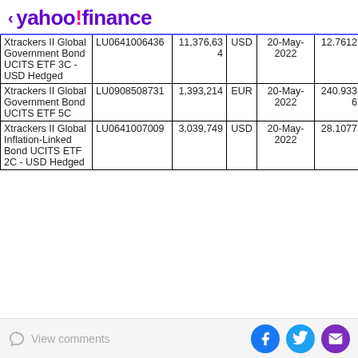yahoo! finance
| Name | ISIN | Units | CCY | Date | NAV | LEI |
| --- | --- | --- | --- | --- | --- | --- |
| Xtrackers II Global Government Bond UCITS ETF 3C - USD Hedged | LU0641006436 | 11,376,634 | USD | 20-May-2022 | 12.7612 | 5493000... |
| Xtrackers II Global Government Bond UCITS ETF 5C | LU0908508731 | 1,393,214 | EUR | 20-May-2022 | 240.9336 | 5493008... |
| Xtrackers II Global Inflation-Linked Bond UCITS ETF 2C - USD Hedged | LU0641007009 | 3,039,749 | USD | 20-May-2022 | 28.1077 | 5493000... |
View comments